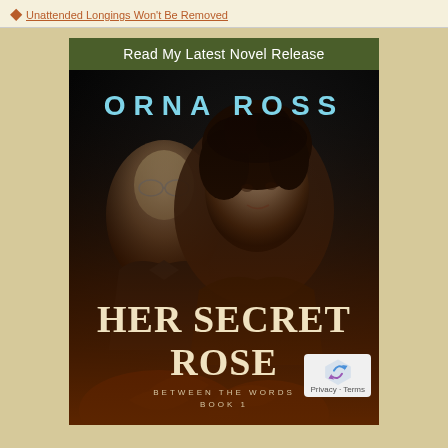Unattended Longings Won't Be Removed
Read My Latest Novel Release
[Figure (illustration): Book cover for 'Her Secret Rose' by Orna Ross. Dark background with black-and-white portrait photographs of a man (left, wearing glasses) and a woman (right, with curly hair). Author name 'ORNA ROSS' in large light blue letters at top. Title 'HER SECRET ROSE' in large cream/white serif letters. Subtitle 'BETWEEN THE WORDS BOOK 1' at bottom. Bottom portion shows orange/red rose imagery.]